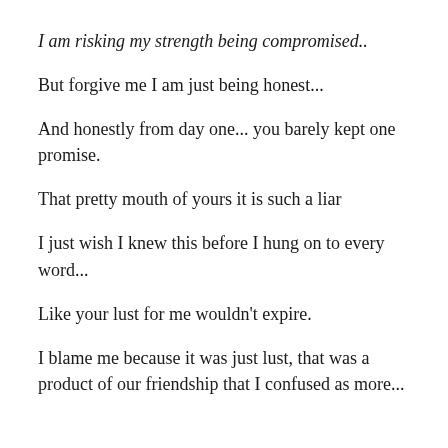I am risking my strength being compromised..
But forgive me I am just being honest...
And honestly from day one... you barely kept one promise.
That pretty mouth of yours it is such a liar
I just wish I knew this before I hung on to every word...
Like your lust for me wouldn't expire.
I blame me because it was just lust, that was a product of our friendship that I confused as more...